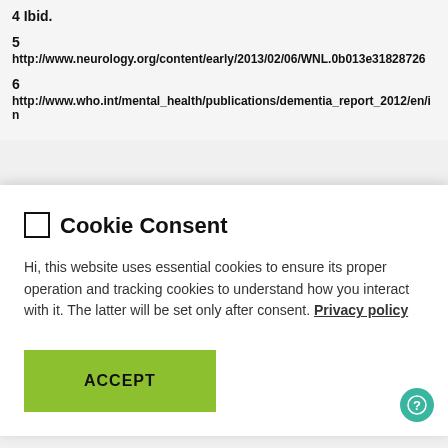4 Ibid.
5
http://www.neurology.org/content/early/2013/02/06/WNL.0b013e31828726
6
http://www.who.int/mental_health/publications/dementia_report_2012/en/in
🍪 Cookie Consent
Hi, this website uses essential cookies to ensure its proper operation and tracking cookies to understand how you interact with it. The latter will be set only after consent. Privacy policy
ACCEPT